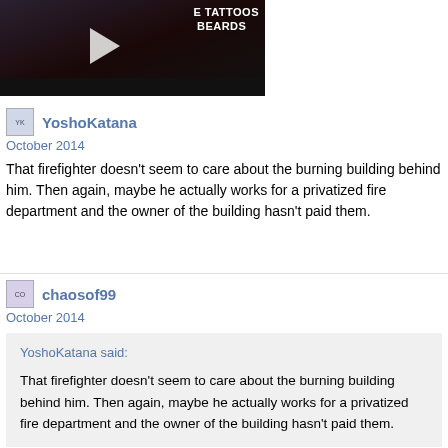[Figure (screenshot): Video thumbnail showing a person with tattoos and beards text overlay, with a play button]
YoshoKatana
October 2014
That firefighter doesn't seem to care about the burning building behind him. Then again, maybe he actually works for a privatized fire department and the owner of the building hasn't paid them.
chaosof99
October 2014
YoshoKatana said:

That firefighter doesn't seem to care about the burning building behind him. Then again, maybe he actually works for a privatized fire department and the owner of the building hasn't paid them.